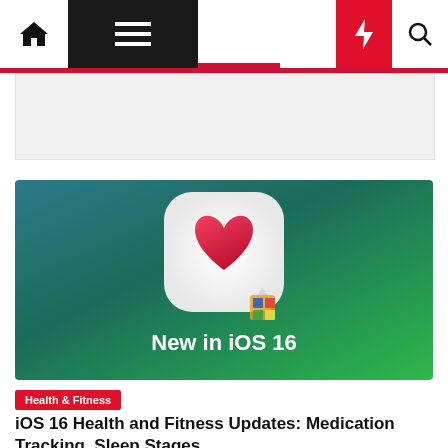Navigation bar with home, menu, dark mode, lightning, and search icons
[Figure (screenshot): iOS 16 Health app icon (white rounded square with pink heart) on a teal-to-green gradient background with 'New in iOS 16' text]
Health & Fitness
iOS 16 Health and Fitness Updates: Medication Tracking, Sleep Stages,...